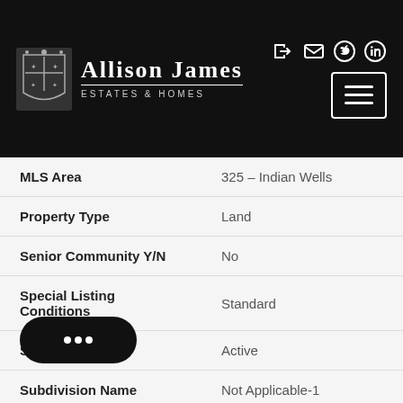Allison James Estates & Homes
| Field | Value |
| --- | --- |
| MLS Area | 325 – Indian Wells |
| Property Type | Land |
| Senior Community Y/N | No |
| Special Listing Conditions | Standard |
| Status | Active |
| Subdivision Name | Not Applicable-1 |
|  | Submit |
| View | Mountain(s) |